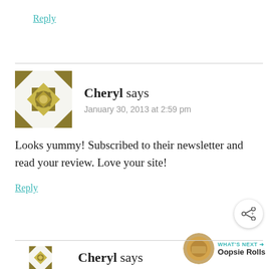Reply
Cheryl says
January 30, 2013 at 2:59 pm
Looks yummy! Subscribed to their newsletter and read your review. Love your site!
Reply
WHAT'S NEXT → Oopsie Rolls
Cheryl says